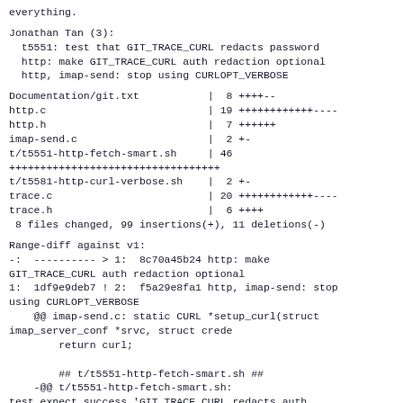everything.
Jonathan Tan (3):
  t5551: test that GIT_TRACE_CURL redacts password
  http: make GIT_TRACE_CURL auth redaction optional
  http, imap-send: stop using CURLOPT_VERBOSE
Documentation/git.txt           |  8 ++++--
http.c                          | 19 ++++++++++++----
http.h                          |  7 ++++++
imap-send.c                     |  2 +-
t/t5551-http-fetch-smart.sh     | 46
++++++++++++++++++++++++++++++++++
t/t5581-http-curl-verbose.sh    |  2 +-
trace.c                         | 20 ++++++++++++----
trace.h                         |  6 ++++
 8 files changed, 99 insertions(+), 11 deletions(-)
Range-diff against v1:
-:  ---------- > 1:  8c70a45b24 http: make
GIT_TRACE_CURL auth redaction optional
1:  1df9e9deb7 ! 2:  f5a29e8fa1 http, imap-send: stop
using CURLOPT_VERBOSE
    @@ imap-send.c: static CURL *setup_curl(struct
imap_server_conf *srvc, struct crede
        return curl;

        ## t/t5551-http-fetch-smart.sh ##
    -@@ t/t5551-http-fetch-smart.sh:
test_expect_success 'GIT_TRACE_CURL redacts auth